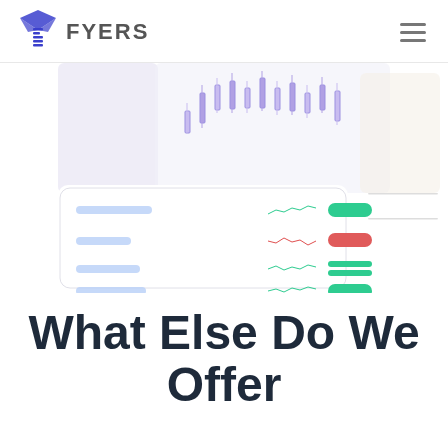FYERS
[Figure (screenshot): Fyers trading dashboard screenshot showing candlestick chart at top and a watchlist panel below with green and red sparklines and colored indicator bars]
What Else Do We Offer